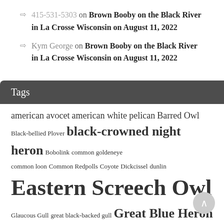415-531-5303 on Brown Booby on the Black River in La Crosse Wisconsin on August 11, 2022
Kym George on Brown Booby on the Black River in La Crosse Wisconsin on August 11, 2022
Tags
american avocet american white pelican Barred Owl Black-bellied Plover black-crowned night heron Bobolink common goldeneye common loon Common Redpolls Coyote Dickcissel dunlin Eastern Screech Owl Glaucous Gull great black-backed gull Great Blue Heron great egret greater scaup Great Horned Owl Green Heron Hooded Merganser Horned Grebe Horned Lark Long-eared Owl Long-tailed Duck